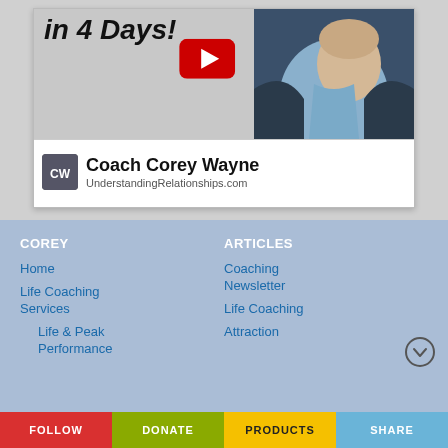[Figure (screenshot): YouTube video thumbnail for Coach Corey Wayne - UnderstandingRelationships.com, showing text 'in 4 Days!' with YouTube play button icon and a man in a suit]
COREY
ARTICLES
Home
Life Coaching Services
Life & Peak Performance
Coaching Newsletter
Life Coaching
Attraction
FOLLOW   DONATE   PRODUCTS   SHARE